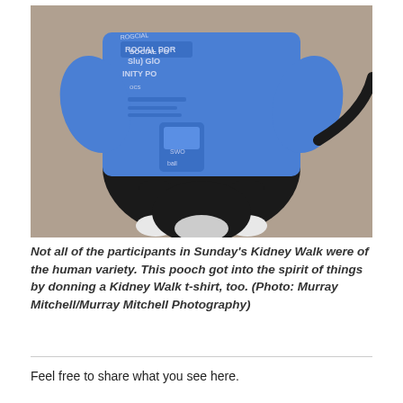[Figure (photo): A black dog wearing a blue Kidney Walk t-shirt, crouching down, viewed from the front. The shirt has text including 'SOCIAL', 'GLOBAL', 'UNITY', and other partially visible words. The dog has white paws.]
Not all of the participants in Sunday's Kidney Walk were of the human variety. This pooch got into the spirit of things by donning a Kidney Walk t-shirt, too. (Photo: Murray Mitchell/Murray Mitchell Photography)
Feel free to share what you see here.